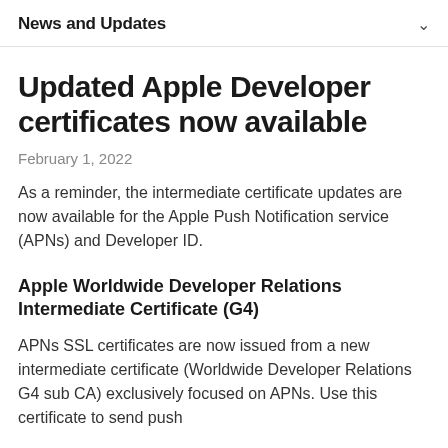News and Updates
Updated Apple Developer certificates now available
February 1, 2022
As a reminder, the intermediate certificate updates are now available for the Apple Push Notification service (APNs) and Developer ID.
Apple Worldwide Developer Relations Intermediate Certificate (G4)
APNs SSL certificates are now issued from a new intermediate certificate (Worldwide Developer Relations G4 sub CA) exclusively focused on APNs. Use this certificate to send push